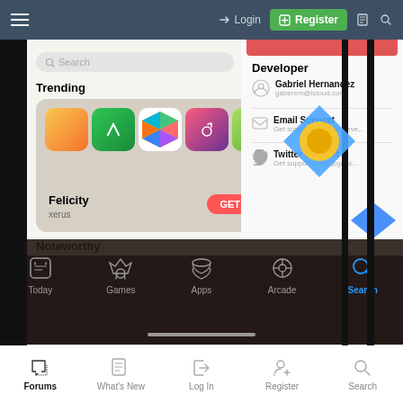Login | Register
[Figure (screenshot): Screenshot of App Store interface showing Trending section with Felicity app by xerus, Developer info panel with Gabriel Hernandez, Email Support, Twitter Support, and bottom tab bar with Today, Games, Apps, Arcade, Search tabs]
nico97605.nc, jasassy, Bkdodger and 1 other person
Forums | What's New | Log In | Register | Search